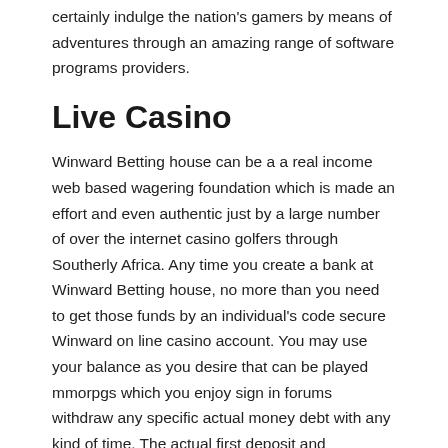certainly indulge the nation's gamers by means of adventures through an amazing range of software programs providers.
Live Casino
Winward Betting house can be a a real income web based wagering foundation which is made an effort and even authentic just by a large number of over the internet casino golfers through Southerly Africa. Any time you create a bank at Winward Betting house, no more than you need to get those funds by an individual's code secure Winward on line casino account. You may use your balance as you desire that can be played mmorpgs which you enjoy sign in forums withdraw any specific actual money debt with any kind of time. The actual first deposit and additionally withdrawal means provided by Winward betting house will be around the world celebrated and fixed together with SSL encryption. Even during all the not possible function which a cyber